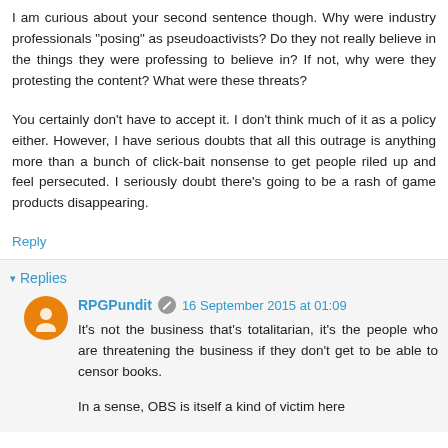I am curious about your second sentence though. Why were industry professionals "posing" as pseudoactivists? Do they not really believe in the things they were professing to believe in? If not, why were they protesting the content? What were these threats?
You certainly don't have to accept it. I don't think much of it as a policy either. However, I have serious doubts that all this outrage is anything more than a bunch of click-bait nonsense to get people riled up and feel persecuted. I seriously doubt there's going to be a rash of game products disappearing.
Reply
▾ Replies
RPGPundit  16 September 2015 at 01:09
It's not the business that's totalitarian, it's the people who are threatening the business if they don't get to be able to censor books.
In a sense, OBS is itself a kind of victim here